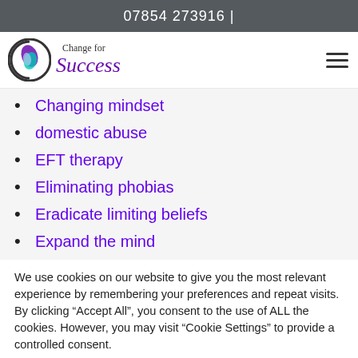07854 273916 |
[Figure (logo): Change for Success logo with circular C icon and script text]
Changing mindset
domestic abuse
EFT therapy
Eliminating phobias
Eradicate limiting beliefs
Expand the mind
We use cookies on our website to give you the most relevant experience by remembering your preferences and repeat visits. By clicking "Accept All", you consent to the use of ALL the cookies. However, you may visit "Cookie Settings" to provide a controlled consent.
Cookie Settings | Accept All